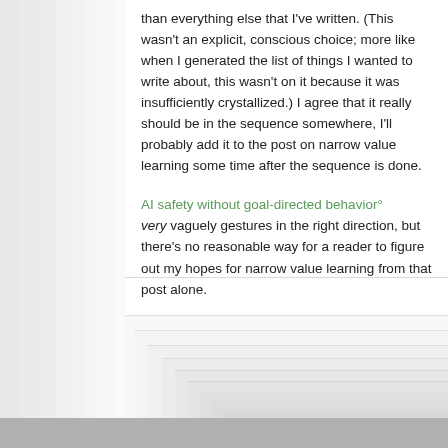than everything else that I've written. (This wasn't an explicit, conscious choice; more like when I generated the list of things I wanted to write about, this wasn't on it because it was insufficiently crystallized.) I agree that it really should be in the sequence somewhere, I'll probably add it to the post on narrow value learning some time after the sequence is done.
AI safety without goal-directed behavior° very vaguely gestures in the right direction, but there's no reasonable way for a reader to figure out my hopes for narrow value learning from that post alone.
Reply